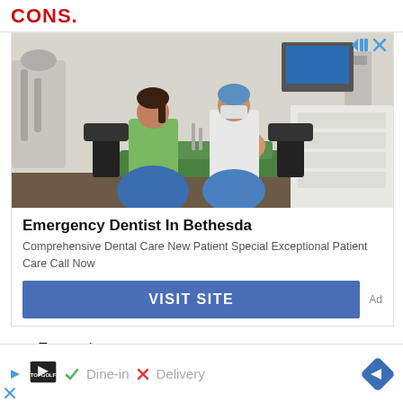CONS.
[Figure (photo): Two dental professionals in a clinic — one in green scrubs sitting on a blue exercise ball, another in white scrubs and mask, treating a patient reclined in a dental chair. Dental equipment visible in the background.]
Emergency Dentist In Bethesda
Comprehensive Dental Care New Patient Special Exceptional Patient Care Call Now
VISIT SITE
Ad
Expensive
Isn't available in different colors
[Figure (logo): TopGolf logo with play icon and close icon]
Dine-in   X  Delivery